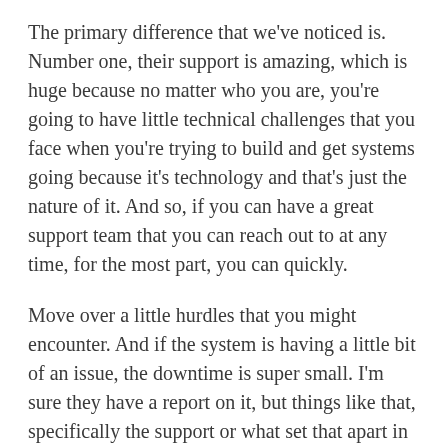The primary difference that we've noticed is. Number one, their support is amazing, which is huge because no matter who you are, you're going to have little technical challenges that you face when you're trying to build and get systems going because it's technology and that's just the nature of it. And so, if you can have a great support team that you can reach out to at any time, for the most part, you can quickly.
Move over a little hurdles that you might encounter. And if the system is having a little bit of an issue, the downtime is super small. I'm sure they have a report on it, but things like that, specifically the support or what set that apart in a major way from those others. And then functionality wise, we found that